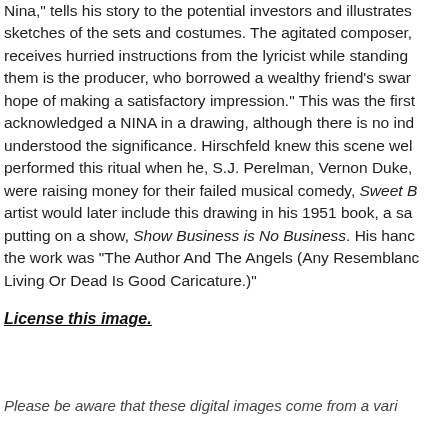Nina," tells his story to the potential investors and illustrates sketches of the sets and costumes. The agitated composer, receives hurried instructions from the lyricist while standing them is the producer, who borrowed a wealthy friend's swan hope of making a satisfactory impression." This was the first acknowledged a NINA in a drawing, although there is no ind understood the significance. Hirschfeld knew this scene wel performed this ritual when he, S.J. Perelman, Vernon Duke, were raising money for their failed musical comedy, Sweet B artist would later include this drawing in his 1951 book, a sa putting on a show, Show Business is No Business. His hand the work was "The Author And The Angels (Any Resemblan Living Or Dead Is Good Caricature.)"
License this image.
Please be aware that these digital images come from a vari